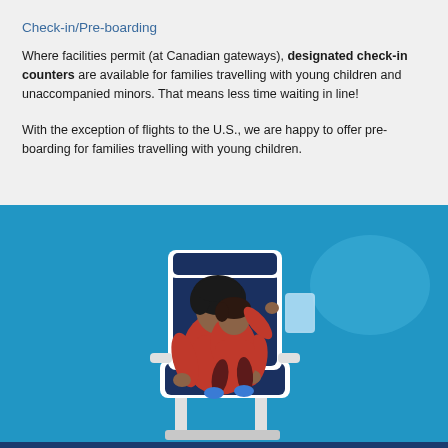Check-in/Pre-boarding
Where facilities permit (at Canadian gateways), designated check-in counters are available for families travelling with young children and unaccompanied minors. That means less time waiting in line!
With the exception of flights to the U.S., we are happy to offer pre-boarding for families travelling with young children.
[Figure (photo): A mother in a red outfit sitting in an airline seat with a young child on her lap, against a bright blue background. The child is pointing at something off-screen.]